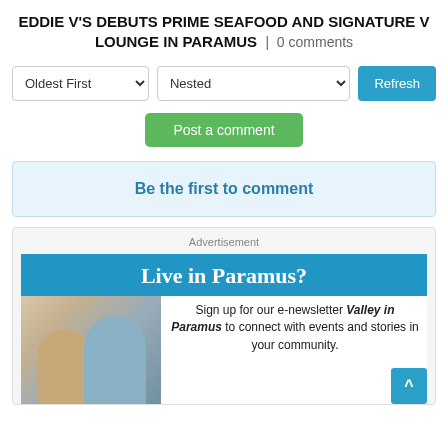EDDIE V'S DEBUTS PRIME SEAFOOD AND SIGNATURE V LOUNGE IN PARAMUS | 0 comments
[Figure (screenshot): Comment sorting controls: dropdown 'Oldest First', dropdown 'Nested', and a teal 'Refresh' button]
[Figure (screenshot): Green 'Post a comment' button]
Be the first to comment
[Figure (infographic): Advertisement banner: 'Live in Paramus? Sign up for our e-newsletter Valley in Paramus to connect with events and stories in your community.' with photo of two people and a scroll-to-top button.]